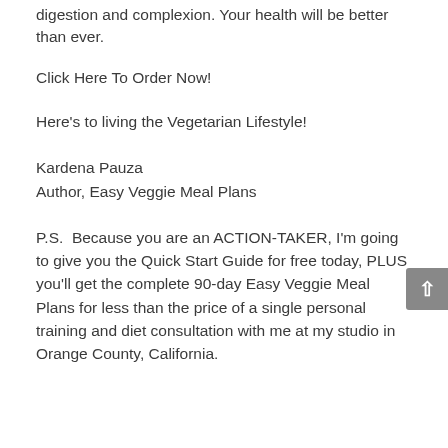digestion and complexion. Your health will be better than ever.
Click Here To Order Now!
Here's to living the Vegetarian Lifestyle!
Kardena Pauza
Author, Easy Veggie Meal Plans
P.S.  Because you are an ACTION-TAKER, I'm going to give you the Quick Start Guide for free today, PLUS you'll get the complete 90-day Easy Veggie Meal Plans for less than the price of a single personal training and diet consultation with me at my studio in Orange County, California.